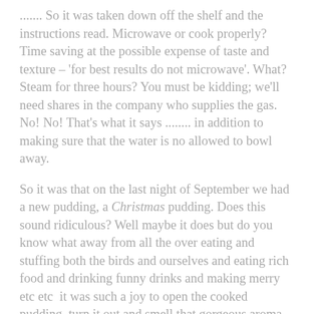....... So it was taken down off the shelf and the instructions read. Microwave or cook properly? Time saving at the possible expense of taste and texture – 'for best results do not microwave'. What? Steam for three hours? You must be kidding; we'll need shares in the company who supplies the gas. No! No! That's what it says ........ in addition to making sure that the water is no allowed to bowl away.
So it was that on the last night of September we had a new pudding, a Christmas pudding. Does this sound ridiculous? Well maybe it does but do you know what away from all the over eating and stuffing both the birds and ourselves and eating rich food and drinking funny drinks and making merry etc etc  it was such a joy to open the cooked pudding, turn it out and smell that gorgeous aroma of fruits and currents and peel